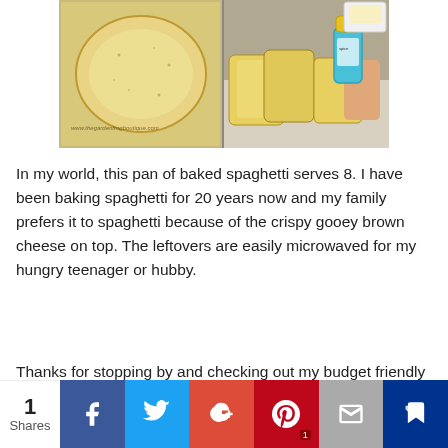[Figure (photo): Two-photo collage: left shows a piece of toast/bread on a baking sheet with watermark 'www.thegardenfrogboutique.com', right shows bread slices on a surface with a hand holding a blue seasoning/spice container with yellow cap]
In my world, this pan of baked spaghetti serves 8. I have been baking spaghetti for 20 years now and my family prefers it to spaghetti because of the crispy gooey brown cheese on top. The leftovers are easily microwaved for my hungry teenager or hubby.
Thanks for stopping by and checking out my budget friendly version of baked spaghetti. Next
[Figure (infographic): Social sharing bar at bottom: share count '1 Shares' on left, then buttons for Facebook (blue), Twitter (light blue), Google+ (red), Pinterest (dark red, badge '1'), Email (gray), and a crown/bookmark button (dark blue)]